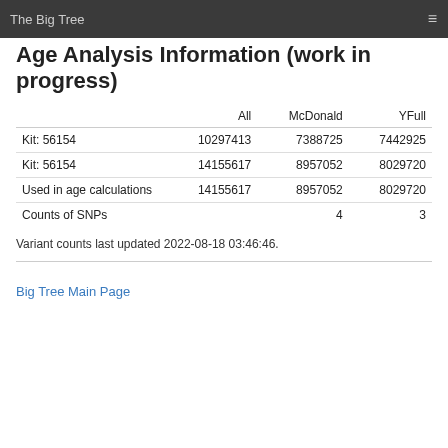The Big Tree
Age Analysis Information (work in progress)
|  | All | McDonald | YFull |
| --- | --- | --- | --- |
| Kit: 56154 | 10297413 | 7388725 | 7442925 |
| Kit: 56154 | 14155617 | 8957052 | 8029720 |
| Used in age calculations | 14155617 | 8957052 | 8029720 |
| Counts of SNPs |  | 4 | 3 |
Variant counts last updated 2022-08-18 03:46:46.
Big Tree Main Page